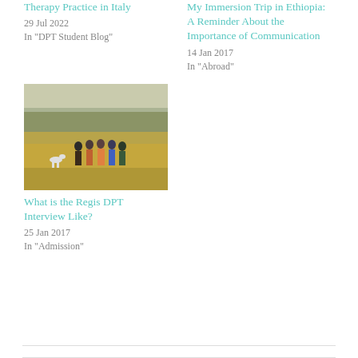Therapy Practice in Italy
29 Jul 2022
In "DPT Student Blog"
My Immersion Trip in Ethiopia: A Reminder About the Importance of Communication
14 Jan 2017
In "Abroad"
[Figure (photo): Group of people standing in a grassy field with trees in the background]
What is the Regis DPT Interview Like?
25 Jan 2017
In "Admission"